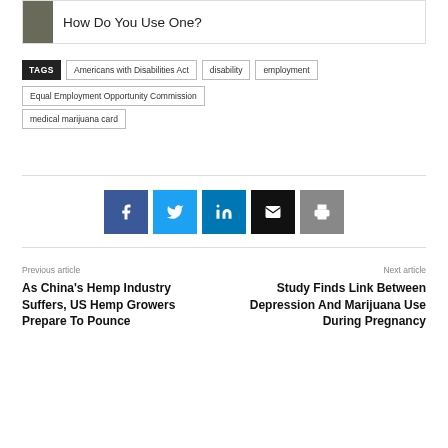[Figure (photo): Partial article card with thumbnail image and title 'How Do You Use One?']
TAGS  Americans with Disabilities Act  disability  employment  Equal Employment Opportunity Commission  medical marijuana card
[Figure (infographic): Social sharing buttons: Facebook, Twitter, LinkedIn, Email, Print]
Previous article
As China's Hemp Industry Suffers, US Hemp Growers Prepare To Pounce
Next article
Study Finds Link Between Depression And Marijuana Use During Pregnancy